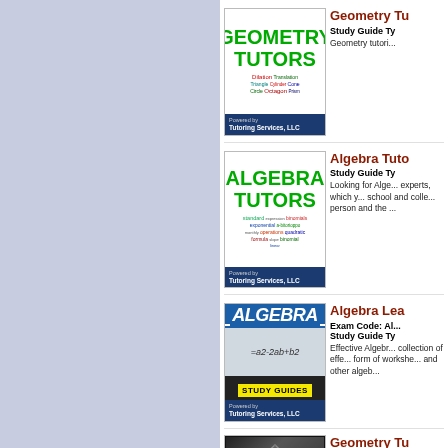[Figure (screenshot): Geometry Tutors thumbnail with word cloud and 'Powered by Tutoring Services, LLC' footer]
Geometry Tu...
Study Guide Ty... Geometry tutori...
[Figure (screenshot): Algebra Tutors thumbnail with word cloud and 'Powered by Tutoring Services, LLC' footer]
Algebra Tuto...
Study Guide Ty... Looking for Alge... experts, which y... school and colle... person and the ...
[Figure (screenshot): Algebra Study Guides thumbnail with 'Powered by Tutoring Services, LLC' footer]
Algebra Lea...
Exam Code: Al... Study Guide Ty... Effective Algebr... collection of effe... form of workshe... and other algeb...
[Figure (screenshot): Geometry Tutors bottom thumbnail (dark background)]
Geometry Tu...